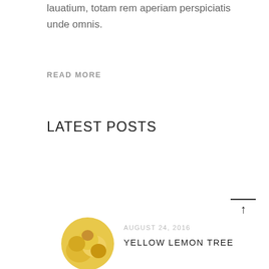lauatium, totam rem aperiam perspiciatis unde omnis.
READ MORE
LATEST POSTS
[Figure (photo): Circular thumbnail of yellow lemons]
AUGUST 24, 2016
YELLOW LEMON TREE
[Figure (photo): Circular thumbnail of colorful vegetables in a pan]
AUGUST 24, 2016
VEGETABLE SYMPHONY
[Figure (photo): Circular thumbnail of strawberries]
AUGUST 24, 2016
SHADES OF STRAWBERRY